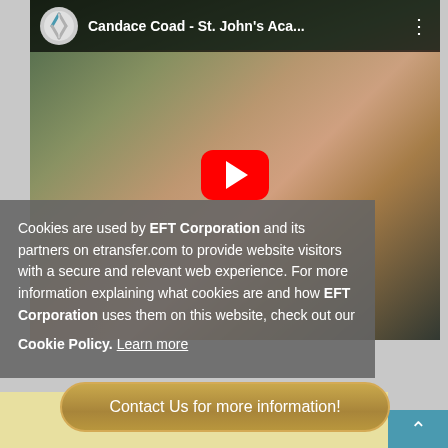[Figure (screenshot): YouTube video thumbnail showing a woman outdoors with trees and a building in background. Title bar reads 'Candace Coad - St. John's Aca...' with YouTube logo. Red play button in center.]
Cookies are used by EFT Corporation and its partners on etransfer.com to provide website visitors with a secure and relevant web experience. For more information explaining what cookies are and how EFT Corporation uses them on this website, check out our
Cookie Policy.  Learn more
Contact Us for more information!
Got it!